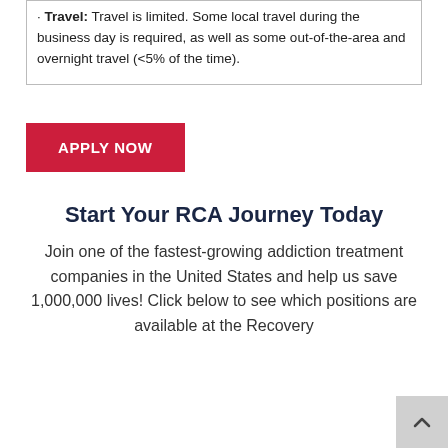· Travel: Travel is limited. Some local travel during the business day is required, as well as some out-of-the-area and overnight travel (<5% of the time).
APPLY NOW
Start Your RCA Journey Today
Join one of the fastest-growing addiction treatment companies in the United States and help us save 1,000,000 lives! Click below to see which positions are available at the Recovery